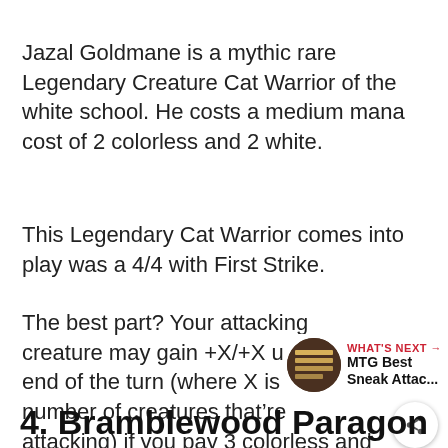Jazal Goldmane is a mythic rare Legendary Creature Cat Warrior of the white school. He costs a medium mana cost of 2 colorless and 2 white.
This Legendary Cat Warrior comes into play was a 4/4 with First Strike.
The best part? Your attacking creature may gain +X/+X until the end of the turn (where X is the number of creatures that’re attacking) if you pay 3 colorless and 2 white mana.
4. Bramblewood Paragon